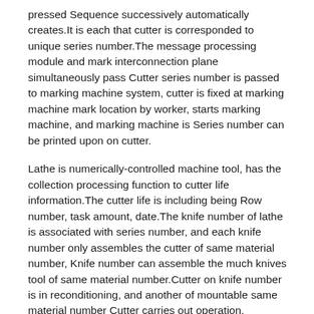pressed Sequence successively automatically creates.It is each that cutter is corresponded to unique series number.The message processing module and mark interconnection plane simultaneously pass Cutter series number is passed to marking machine system, cutter is fixed at marking machine mark location by worker, starts marking machine, and marking machine is Series number can be printed upon on cutter.
Lathe is numerically-controlled machine tool, has the collection processing function to cutter life information.The cutter life is including being Row number, task amount, date.The knife number of lathe is associated with series number, and each knife number only assembles the cutter of same material number, Knife number can assemble the much knives tool of same material number.Cutter on knife number is in reconditioning, and another of mountable same material number Cutter carries out operation, improves lathe utilization rate and working efficiency.Cutter is packed into lathe end every time, requires the series of input cutter Number, realize the purpose of cutter individual tracking.